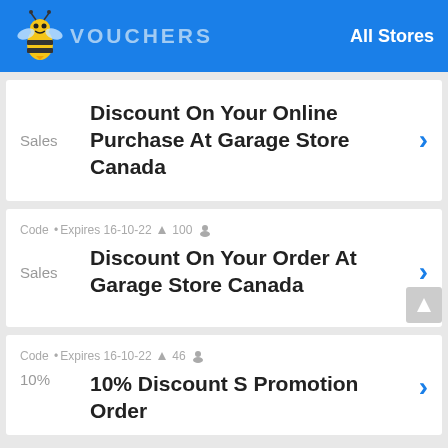VOUCHERS — All Stores
Sales — Discount On Your Online Purchase At Garage Store Canada
Sales — Code • Expires 16-10-22 100 — Discount On Your Order At Garage Store Canada
10% — Code • Expires 16-10-22 46 — 10% Discount S Promotion Order